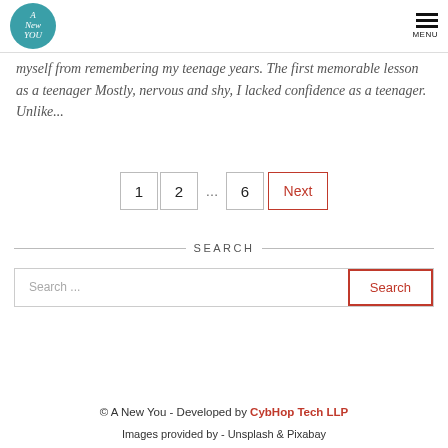A New You — MENU
myself from remembering my teenage years. The first memorable lesson as a teenager Mostly, nervous and shy, I lacked confidence as a teenager. Unlike...
Pagination: 1, 2, ..., 6, Next
SEARCH
Search ...
© A New You - Developed by CybHop Tech LLP
Images provided by - Unsplash & Pixabay